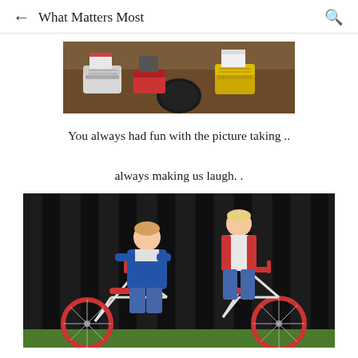What Matters Most
[Figure (photo): Close-up photo of children's feet and shoes, including white sneakers, yellow high-top Converse, and red lace-up shoes, with a dark background and a bowling ball visible]
You always had fun with the picture taking ..

always making us laugh. .
[Figure (photo): Two young boys posing with BMX bicycles against a dark wooden fence. One boy crouches in front in a blue jacket, the other stands behind in a white and red shirt. The bikes have red accents and white frames with red tires.]